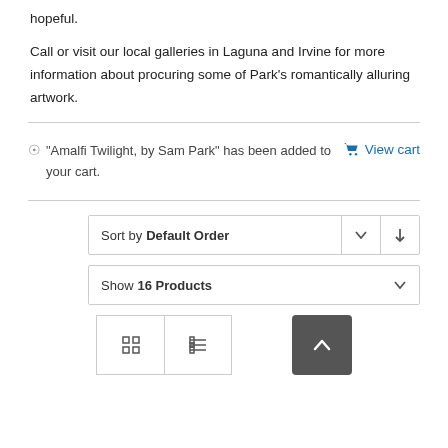hopeful.
Call or visit our local galleries in Laguna and Irvine for more information about procuring some of Park’s romantically alluring artwork.
“Amalfi Twilight, by Sam Park” has been added to your cart.
View cart
Sort by Default Order
Show 16 Products